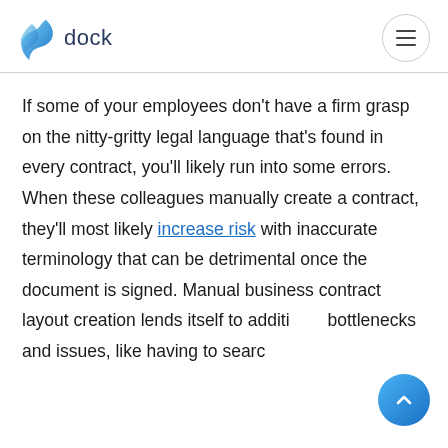dock
If some of your employees don't have a firm grasp on the nitty-gritty legal language that's found in every contract, you'll likely run into some errors. When these colleagues manually create a contract, they'll most likely increase risk with inaccurate terminology that can be detrimental once the document is signed. Manual business contract layout creation lends itself to additional bottlenecks and issues, like having to search